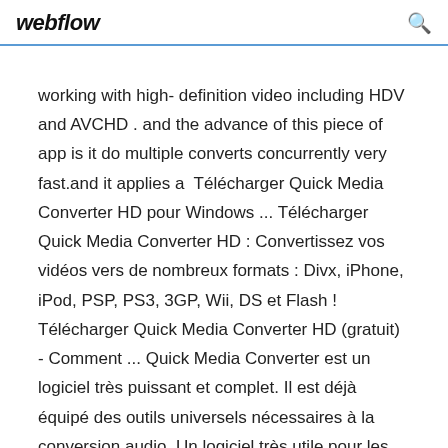webflow
working with high- definition video including HDV and AVCHD . and the advance of this piece of app is it do multiple converts concurrently very fast.and it applies a  Télécharger Quick Media Converter HD pour Windows ... Télécharger Quick Media Converter HD : Convertissez vos vidéos vers de nombreux formats : Divx, iPhone, iPod, PSP, PS3, 3GP, Wii, DS et Flash ! Télécharger Quick Media Converter HD (gratuit) - Comment ... Quick Media Converter est un logiciel très puissant et complet. Il est déjà équipé des outils universels nécessaires à la conversion audio. Un logiciel très utile pour les amateurs de